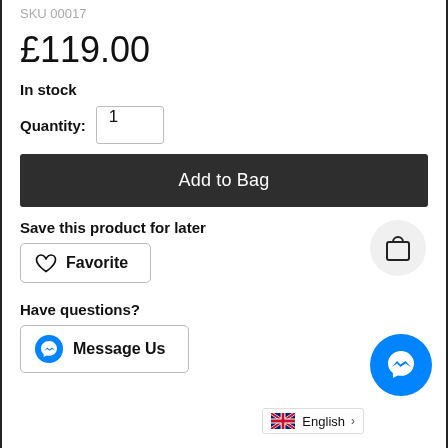SKU 00017
£119.00
In stock
Quantity: 1
Add to Bag
Save this product for later
Favorite
Have questions?
Message Us
English